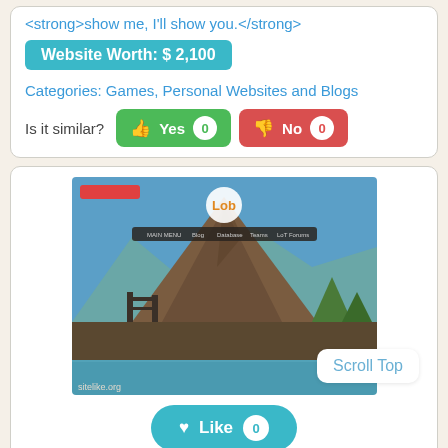<strong>show me, I'll show you.</strong>
Website Worth: $ 2,100
Categories: Games, Personal Websites and Blogs
Is it similar? Yes 0  No 0
[Figure (screenshot): Screenshot of a gaming website (lol-type) showing a mountain/rocky landscape with blue sky, industrial scaffolding, and water. URL watermark: sitelike.org]
Like 0